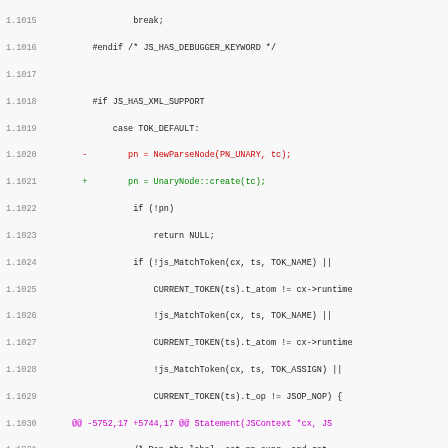[Figure (screenshot): Source code diff view showing lines 1.1015 to 1.1047 of a C/JavaScript parser file, with line numbers on the left, removed lines in red, added lines in green, and diff hunk headers in magenta.]